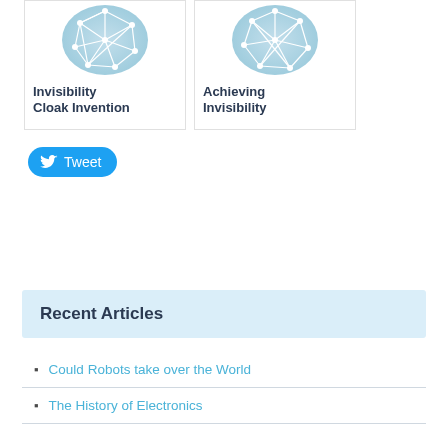[Figure (illustration): Card with a light blue circular network/polygon icon and bold text 'Invisibility Cloak Invention']
[Figure (illustration): Card with a light blue circular network/polygon icon and bold text 'Achieving Invisibility']
[Figure (other): Twitter Tweet button with bird icon]
Recent Articles
Could Robots take over the World
The History of Electronics